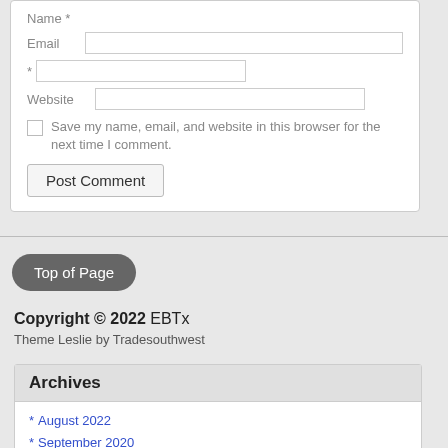Name *
Email *
Website
Save my name, email, and website in this browser for the next time I comment.
Post Comment
Top of Page
Copyright © 2022 EBTx
Theme Leslie by Tradesouthwest
Archives
August 2022
September 2020